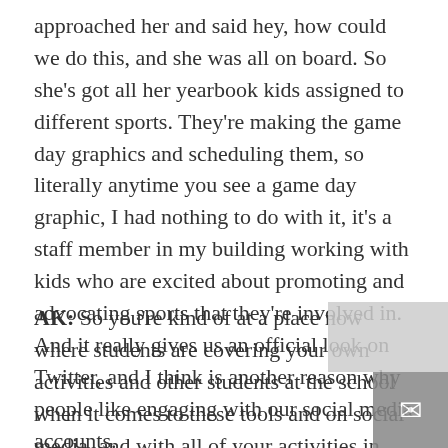approached her and said hey, how could we do this, and she was all on board. So she's got all her yearbook kids assigned to different sports. They're making the game day graphics and scheduling them, so literally anytime you see a game day graphic, I had nothing to do with it, it's a staff member in my building working with kids who are excited about promoting and advocating sports that they're involved in. And it really gives us an official look on Twitter, and I think is another reason why people like engaging with our social media accounts.
AK: So you're kind of at a place now where students are covering your own activities and other students at the school when it comes to these tools and on social media, and with all of your activities in sports then sounds like. Sweet. Ryan, I'm kind of curious, in terms of